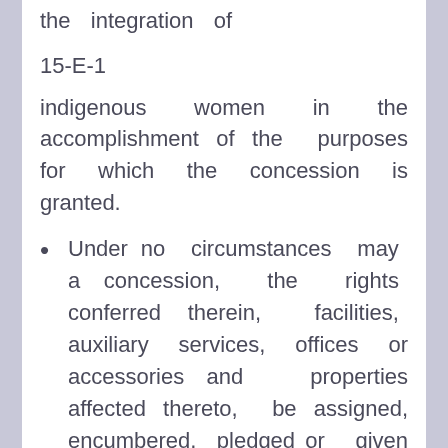the integration of
15-E-1
indigenous women in the accomplishment of the purposes for which the concession is granted.
Under no circumstances may a concession, the rights conferred therein, facilities, auxiliary services, offices or accessories and properties affected thereto, be assigned, encumbered, pledged or given in trust, mortgaged, or transferred totally or partially to any foreign government or state.